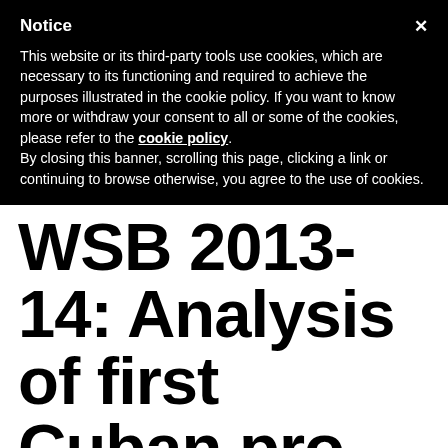Notice
This website or its third-party tools use cookies, which are necessary to its functioning and required to achieve the purposes illustrated in the cookie policy. If you want to know more or withdraw your consent to all or some of the cookies, please refer to the cookie policy.
By closing this banner, scrolling this page, clicking a link or continuing to browse otherwise, you agree to the use of cookies.
WSB 2013-14: Analysis of first Cuban pro
07 September 2013
NEWS